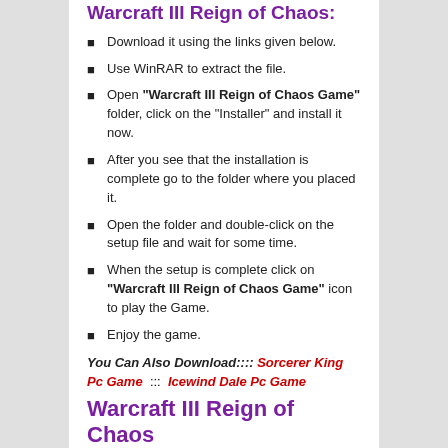Warcraft III Reign of Chaos:
Download it using the links given below.
Use WinRAR to extract the file.
Open "Warcraft III Reign of Chaos Game" folder, click on the "Installer" and install it now.
After you see that the installation is complete go to the folder where you placed it.
Open the folder and double-click on the setup file and wait for some time.
When the setup is complete click on "Warcraft III Reign of Chaos Game" icon to play the Game.
Enjoy the game.
You Can Also Download:::: Sorcerer King Pc Game  :::  Icewind Dale Pc Game
Warcraft III Reign of Chaos